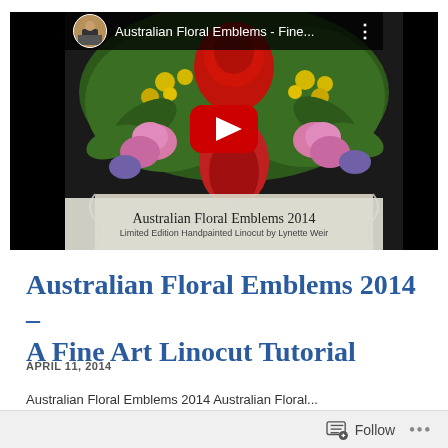[Figure (screenshot): YouTube video thumbnail showing 'Australian Floral Emblems - Fine...' with a colorful floral linocut artwork featuring Australian floral emblems 2014, with a red play button overlay. Top bar shows avatar, video title truncated, and a three-dot menu. Bottom banner reads 'Australian Floral Emblems 2014' and 'Limited Edition Handpainted Linocut by Lynette Weir'.]
Australian Floral Emblems 2014 – A Fine Art Linocut Tutorial
APRIL 11, 2014
Australian Floral Emblems 2014 Australian Floral...